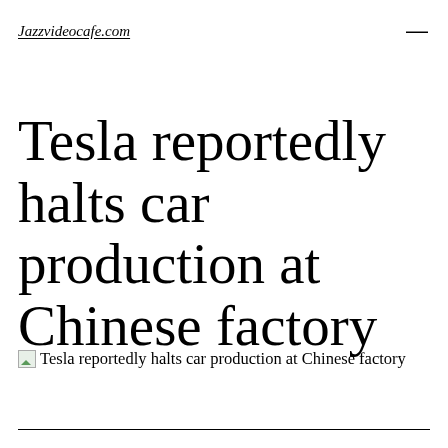Jazzvideocafe.com
Tesla reportedly halts car production at Chinese factory
[Figure (other): Broken image placeholder with alt text: Tesla reportedly halts car production at Chinese factory]
Tesla reportedly halts car production at Chinese factory